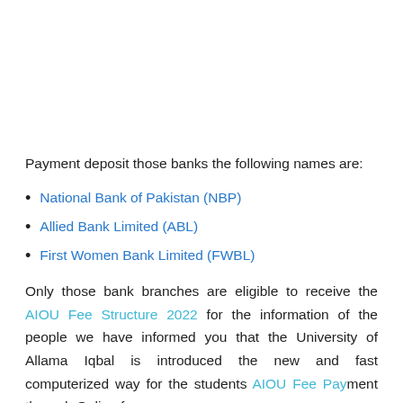Payment deposit those banks the following names are:
National Bank of Pakistan (NBP)
Allied Bank Limited (ABL)
First Women Bank Limited (FWBL)
Only those bank branches are eligible to receive the AIOU Fee Structure 2022 for the information of the people we have informed you that the University of Allama Iqbal is introduced the new and fast computerized way for the students AIOU Fee Payment through Online for